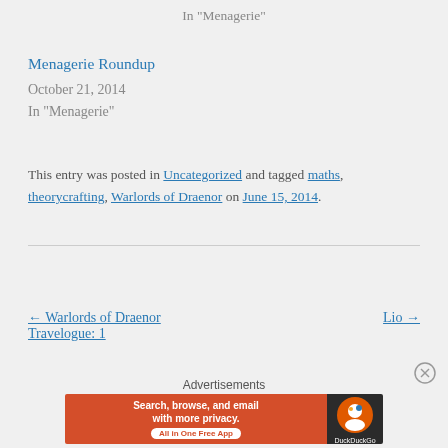In "Menagerie"
Menagerie Roundup
October 21, 2014
In "Menagerie"
This entry was posted in Uncategorized and tagged maths, theorycrafting, Warlords of Draenor on June 15, 2014.
← Warlords of Draenor Travelogue: 1
Lio →
Advertisements
[Figure (other): DuckDuckGo advertisement banner: Search, browse, and email with more privacy. All in One Free App. DuckDuckGo logo on dark background.]